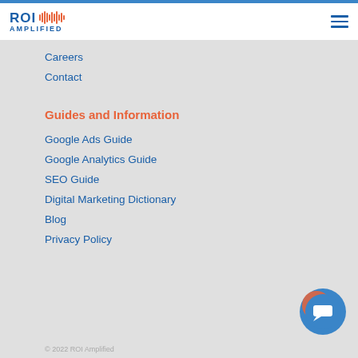ROI AMPLIFIED
Careers
Contact
Guides and Information
Google Ads Guide
Google Analytics Guide
SEO Guide
Digital Marketing Dictionary
Blog
Privacy Policy
© 2022 ROI Amplified